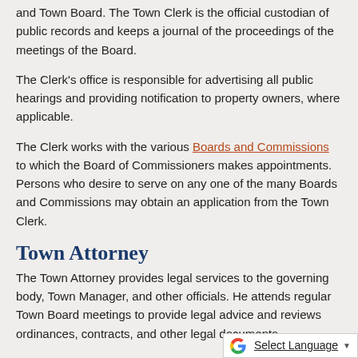and Town Board. The Town Clerk is the official custodian of public records and keeps a journal of the proceedings of the meetings of the Board.
The Clerk's office is responsible for advertising all public hearings and providing notification to property owners, where applicable.
The Clerk works with the various Boards and Commissions to which the Board of Commissioners makes appointments. Persons who desire to serve on any one of the many Boards and Commissions may obtain an application from the Town Clerk.
Town Attorney
The Town Attorney provides legal services to the governing body, Town Manager, and other officials. He attends regular Town Board meetings to provide legal advice and reviews ordinances, contracts, and other legal documents.